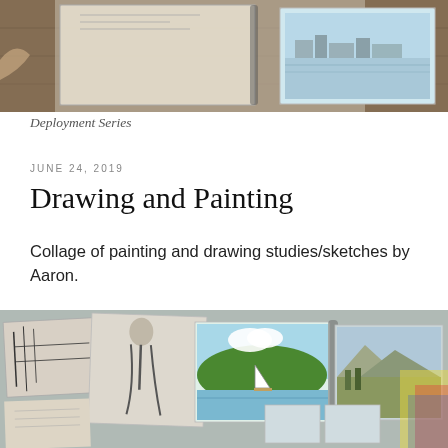[Figure (photo): Top portion of a photo showing sketchbooks and drawings laid out on a wooden surface, with watercolor paintings visible]
Deployment Series
JUNE 24, 2019
Drawing and Painting
Collage of painting and drawing studies/sketches by Aaron.
[Figure (photo): Collage photo of various painting and drawing studies/sketches by Aaron, including watercolor landscapes, figure sketches, and architectural drawings spread out on a table]